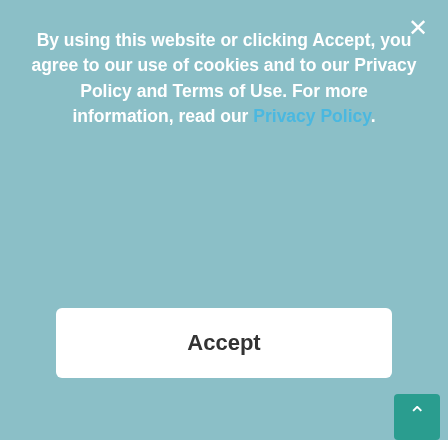By using this website or clicking Accept, you agree to our use of cookies and to our Privacy Policy and Terms of Use. For more information, read our Privacy Policy.
Accept
https://dogtime.com/dog-health/79001-cbd-hemp-oil-for-dogs
[Figure (infographic): Advertisement banner with a customer review quote about CBD oil for cats, 5-star review rating, SHOP NOW button, and product bottle images]
Frequently Asked